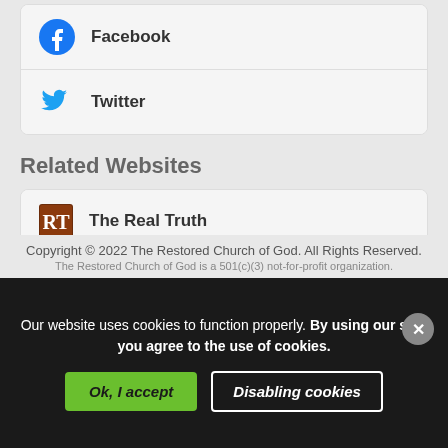Facebook
Twitter
Related Websites
The Real Truth
The World to Come
WCG Background?
Copyright © 2022 The Restored Church of God. All Rights Reserved.
The Restored Church of God is a 501(c)(3) not-for-profit organization.
Our website uses cookies to function properly. By using our site, you agree to the use of cookies.
Ok, I accept
Disabling cookies